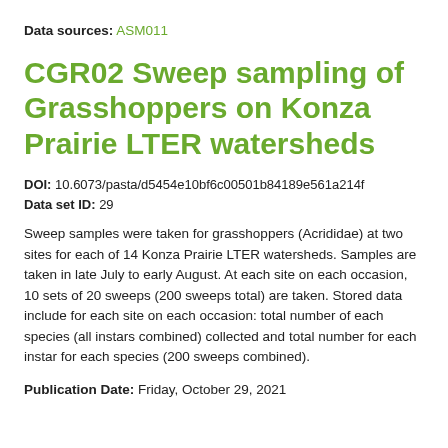Data sources: ASM011
CGR02 Sweep sampling of Grasshoppers on Konza Prairie LTER watersheds
DOI: 10.6073/pasta/d5454e10bf6c00501b84189e561a214f
Data set ID: 29
Sweep samples were taken for grasshoppers (Acrididae) at two sites for each of 14 Konza Prairie LTER watersheds. Samples are taken in late July to early August. At each site on each occasion, 10 sets of 20 sweeps (200 sweeps total) are taken. Stored data include for each site on each occasion: total number of each species (all instars combined) collected and total number for each instar for each species (200 sweeps combined).
Publication Date: Friday, October 29, 2021